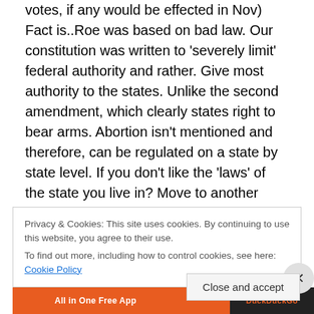votes, if any would be effected in Nov) Fact is..Roe was based on bad law. Our constitution was written to 'severely limit' federal authority and rather. Give most authority to the states. Unlike the second amendment, which clearly states right to bear arms. Abortion isn't mentioned and therefore, can be regulated on a state by state level. If you don't like the 'laws' of the state you live in? Move to another state.( you do have that right in the constitution) or vote those politicians out. It's reallly ignorance of our form of government. A Representative Republic and the ignorance of the Constitution that are the real sins here.
Privacy & Cookies: This site uses cookies. By continuing to use this website, you agree to their use.
To find out more, including how to control cookies, see here: Cookie Policy